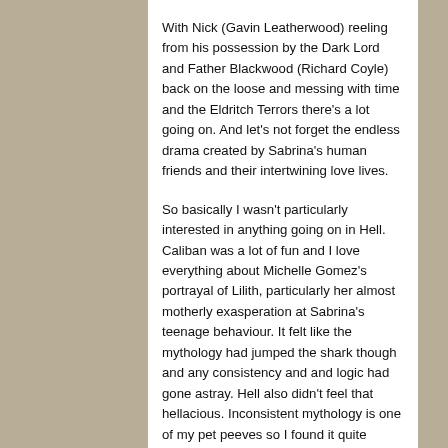With Nick (Gavin Leatherwood) reeling from his possession by the Dark Lord and Father Blackwood (Richard Coyle) back on the loose and messing with time and the Eldritch Terrors there's a lot going on. And let's not forget the endless drama created by Sabrina's human friends and their intertwining love lives.
So basically I wasn't particularly interested in anything going on in Hell. Caliban was a lot of fun and I love everything about Michelle Gomez's portrayal of Lilith, particularly her almost motherly exasperation at Sabrina's teenage behaviour. It felt like the mythology had jumped the shark though and any consistency and and logic had gone astray. Hell also didn't feel that hellacious. Inconsistent mythology is one of my pet peeves so I found it quite frustrating and a bit